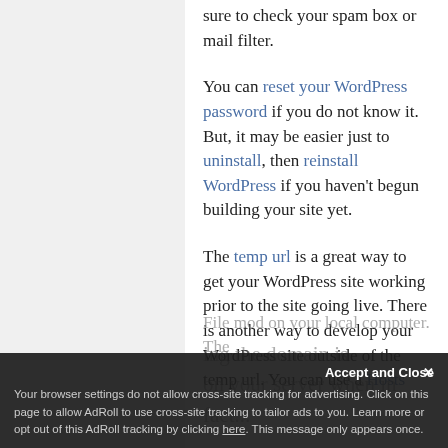sure to check your spam box or mail filter.
You can reset your WordPress password if you do not know it. But, it may be easier just to uninstall, then reinstall WordPress if you haven't begun building your site yet.
The temp url is a great way to get your WordPress site working prior to the site going live. There is another way to develop your WordPress site outside of the temp url. You can use a Hosts File mod on your local computer. The [obscured] ing the domain is on your server when in fact...
Accept and Close
Your browser settings do not allow cross-site tracking for advertising. Click on this page to allow AdRoll to use cross-site tracking to tailor ads to you. Learn more or opt out of this AdRoll tracking by clicking here. This message only appears once.